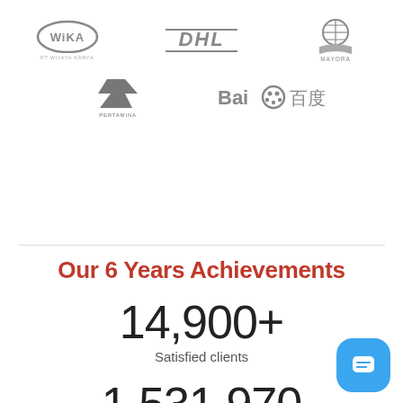[Figure (logo): WIKA (PT Wijaya Karya) logo - grayscale]
[Figure (logo): DHL logo - grayscale]
[Figure (logo): MAYORA logo - grayscale]
[Figure (logo): PERTAMINA logo - grayscale]
[Figure (logo): Baidu 百度 logo - grayscale]
Our 6 Years Achievements
14,900+
Satisfied clients
1,531,970